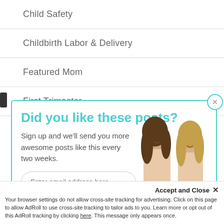Child Safety
Childbirth Labor & Delivery
Featured Mom
First Trimester
[Figure (other): Popup widget with teal border asking 'Did you like these posts?' with email signup field and image of two women in beige tops]
Accept and Close ✕
Your browser settings do not allow cross-site tracking for advertising. Click on this page to allow AdRoll to use cross-site tracking to tailor ads to you. Learn more or opt out of this AdRoll tracking by clicking here. This message only appears once.